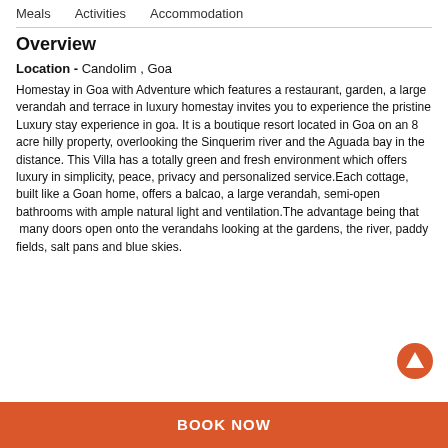Meals   Activities   Accommodation
Overview
Location - Candolim , Goa
Homestay in Goa with Adventure which features a restaurant, garden, a large verandah and terrace in luxury homestay invites you to experience the pristine Luxury stay experience in goa. It is a boutique resort located in Goa on an 8 acre hilly property, overlooking the Sinquerim river and the Aguada bay in the distance. This Villa has a totally green and fresh environment which offers luxury in simplicity, peace, privacy and personalized service.Each cottage, built like a Goan home, offers a balcao, a large verandah, semi-open bathrooms with ample natural light and ventilation.The advantage being that  many doors open onto the verandahs looking at the gardens, the river, paddy fields, salt pans and blue skies.
BOOK NOW